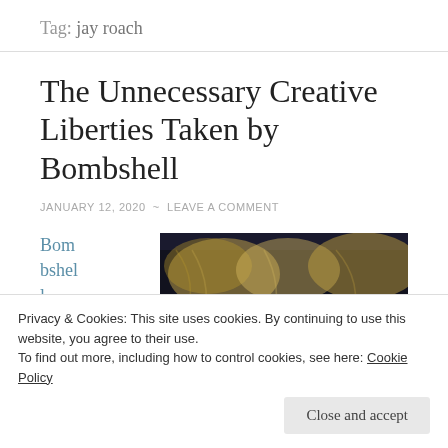Tag: jay roach
The Unnecessary Creative Liberties Taken by Bombshell
JANUARY 12, 2020 ~ LEAVE A COMMENT
Bombshell
[Figure (photo): Movie poster for Bombshell featuring text: CHARLIZE THERON, NICOLE KIDMAN, MARGOT ROBBIE on a dark background with blonde hair imagery]
Privacy & Cookies: This site uses cookies. By continuing to use this website, you agree to their use.
To find out more, including how to control cookies, see here: Cookie Policy
Close and accept